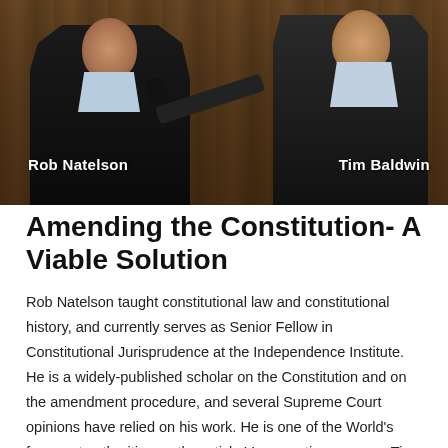[Figure (photo): Two men in suits appear to be having an interview. The man on the left is holding or being interviewed with a microphone. Text overlays identify them as 'Rob Natelson' (left) and 'Tim Baldwin' (right). Background is a wood-panel wall.]
Amending the Constitution- A Viable Solution
Rob Natelson taught constitutional law and constitutional history, and currently serves as Senior Fellow in Constitutional Jurisprudence at the Independence Institute. He is a widely-published scholar on the Constitution and on the amendment procedure, and several Supreme Court opinions have relied on his work. He is one of the World's foremost authorities on the article V convention process. Tim Baldwin from Liberty Defense